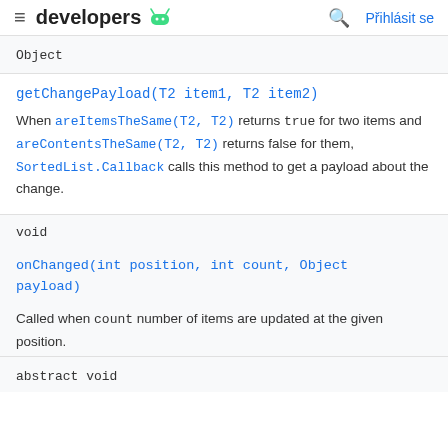≡ developers 🤖  🔍 Přihlásit se
Object
getChangePayload(T2 item1, T2 item2)
When areItemsTheSame(T2, T2) returns true for two items and areContentsTheSame(T2, T2) returns false for them, SortedList.Callback calls this method to get a payload about the change.
void
onChanged(int position, int count, Object payload)
Called when count number of items are updated at the given position.
abstract void